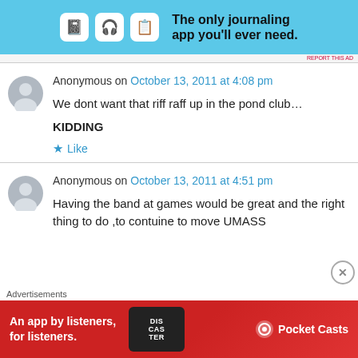[Figure (screenshot): Blue banner ad: The only journaling app you'll ever need. with icons.]
REPORT THIS AD
Anonymous on October 13, 2011 at 4:08 pm
We dont want that riff raff up in the pond club…
KIDDING
★ Like
Anonymous on October 13, 2011 at 4:51 pm
Having the band at games would be great and the right thing to do ,to contuine to move UMASS
Advertisements
[Figure (screenshot): Red banner ad: An app by listeners, for listeners. Pocket Casts logo with phone image.]